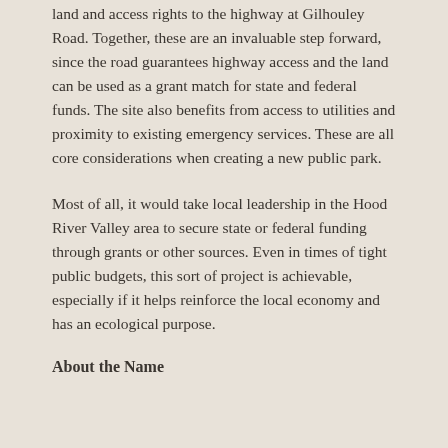land and access rights to the highway at Gilhouley Road. Together, these are an invaluable step forward, since the road guarantees highway access and the land can be used as a grant match for state and federal funds. The site also benefits from access to utilities and proximity to existing emergency services. These are all core considerations when creating a new public park.
Most of all, it would take local leadership in the Hood River Valley area to secure state or federal funding through grants or other sources. Even in times of tight public budgets, this sort of project is achievable, especially if it helps reinforce the local economy and has an ecological purpose.
About the Name